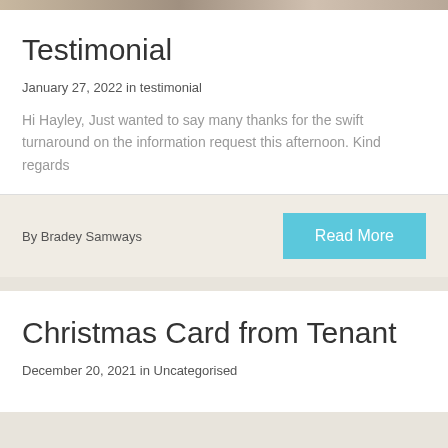[Figure (photo): Partial image strip at the top of the page showing a cropped photo]
Testimonial
January 27, 2022 in testimonial
Hi Hayley, Just wanted to say many thanks for the swift turnaround on the information request this afternoon. Kind regards
By Bradey Samways
Read More
Christmas Card from Tenant
December 20, 2021 in Uncategorised